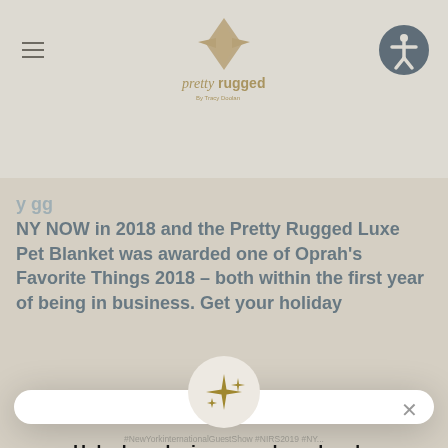[Figure (logo): Pretty Rugged by Tracy Doolan logo with diamond/leaf shape and stylized text]
NY NOW in 2018 and the Pretty Rugged Luxe Pet Blanket was awarded one of Oprah's Favorite Things 2018 – both within the first year of being in business. Get your holiday
Unlock exclusive rewards and perks
Sign up or Log in
Sign up
Already have an account? Sign in
#NewYorkinternationalGuestShow #NIRS2019 #NY...